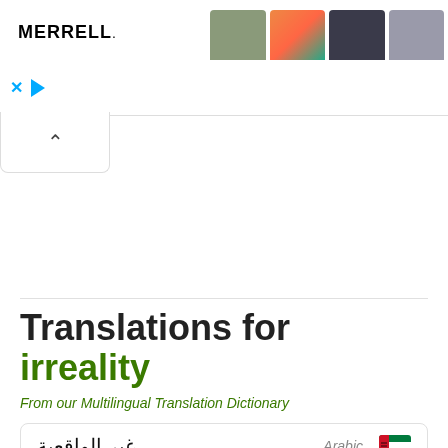[Figure (screenshot): Merrell shoe advertisement banner with shoe images and brand logo]
Translations for irreality
From our Multilingual Translation Dictionary
| Translation | Language | Flag |
| --- | --- | --- |
| غير الواقعية | Arabic | Arabic flag |
| Irrealität | German | German flag |